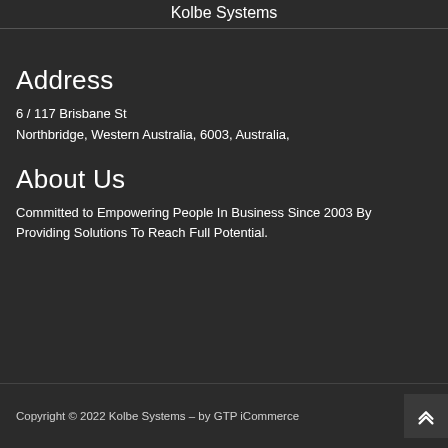Kolbe Systems
Address
6 / 117 Brisbane St
Northbridge, Western Australia, 6003, Australia,
About Us
Committed to Empowering People In Business Since 2003 By
Providing Solutions To Reach Full Potential.
Copyright © 2022 Kolbe Systems – by GTP iCommerce